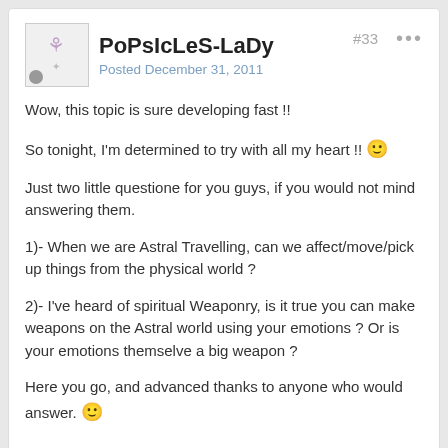PoPsIcLeS-LaDy — Posted December 31, 2011 — #33
Wow, this topic is sure developing fast !!
So tonight, I'm determined to try with all my heart !! 🙂
Just two little questione for you guys, if you would not mind answering them.
1)- When we are Astral Travelling, can we affect/move/pick up things from the physical world ?
2)- I've heard of spiritual Weaponry, is it true you can make weapons on the Astral world using your emotions ? Or is your emotions themselve a big weapon ?
Here you go, and advanced thanks to anyone who would answer. 🙂
Tata Rompe Pecho — #34